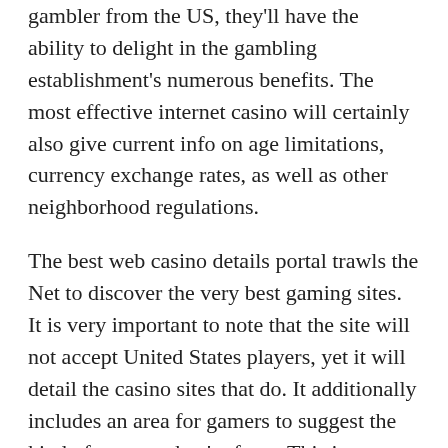gambler from the US, they'll have the ability to delight in the gambling establishment's numerous benefits. The most effective internet casino will certainly also give current info on age limitations, currency exchange rates, as well as other neighborhood regulations.
The best web casino details portal trawls the Net to discover the very best gaming sites. It is very important to note that the site will not accept United States players, yet it will detail the casino sites that do. It additionally includes an area for gamers to suggest the kind of country they're from. This is a crucial feature that ought to get on any kind of internet casino's site. The information provided is upgraded on a regular basis, and also gamers can rely on the details given by the site.